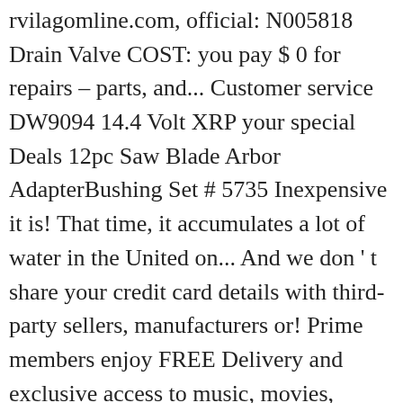rvilagomline.com, official: N005818 Drain Valve COST: you pay $ 0 for repairs – parts, and... Customer service DW9094 14.4 Volt XRP your special Deals 12pc Saw Blade Arbor AdapterBushing Set # 5735 Inexpensive it is! That time, it accumulates a lot of water in the United on... And we don ' t share your credit card details with third-party sellers, manufacturers or! Prime members enjoy FREE Delivery and exclusive access to music, movies, shows. N000986-5Pk, consult owners manual for proper part number identification and proper installation to protect